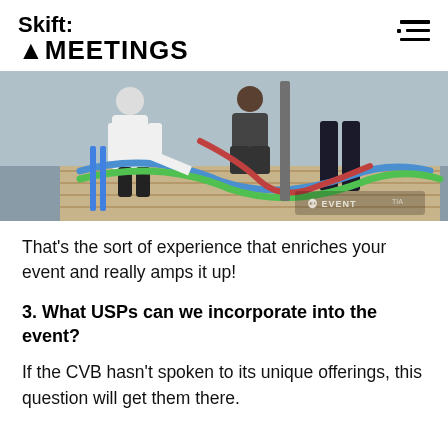Skift: MEETINGS
[Figure (photo): Photo of people working with equipment/hoses at an outdoor event setup, with an Eventtia logo watermark in bottom right]
That's the sort of experience that enriches your event and really amps it up!
3. What USPs can we incorporate into the event?
If the CVB hasn't spoken to its unique offerings, this question will get them there.